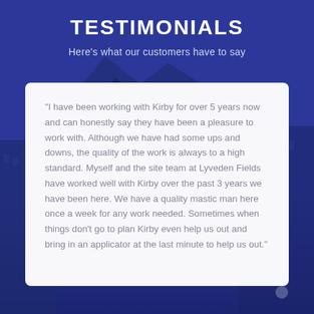TESTIMONIALS
Here's what our customers have to say
“I have been working with Kirby for over 5 years now and can honestly say they have been a pleasure to work with. Although we have had some ups and downs, the quality of the work is always to a high standard. Myself and the site team at Lyveden Fields have worked well with Kirby over the past 3 years we have been here. We have a quality mastic man here once a week for any work needed. Sometimes when things don’t go to plan Kirby even help us out and bring in an applicator at the last minute to help us out.”